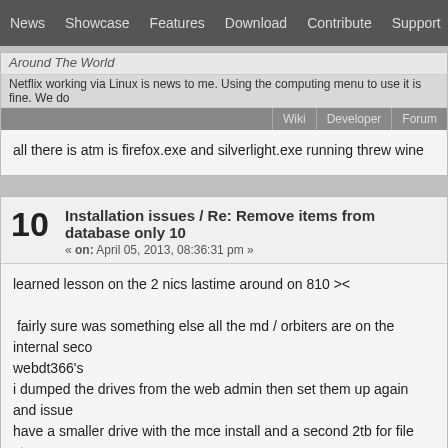News | Showcase | Features | Download | Contribute | Support
Around The World
Netflix working via Linux is news to me. Using the computing menu to use it is fine. We do
Wiki | Developer | Forum
all there is atm is firefox.exe and silverlight.exe running threw wine
10 Installation issues / Re: Remove items from database only 10
« on: April 05, 2013, 08:36:31 pm »
learned lesson on the 2 nics lastime around on 810 ><

 fairly sure was something else all the md / orbiters are on the internal seco webdt366's
i dumped the drives from the web admin then set them up again and issue have a smaller drive with the mce install and a second 2tb for file storage m the media on it
in short error of dummy behind keyboard. feel free to delete this post as it i
11 Installation issues / Re: Netflix as button? 1004 working on K
« on: April 05, 2013, 08:28:13 pm »